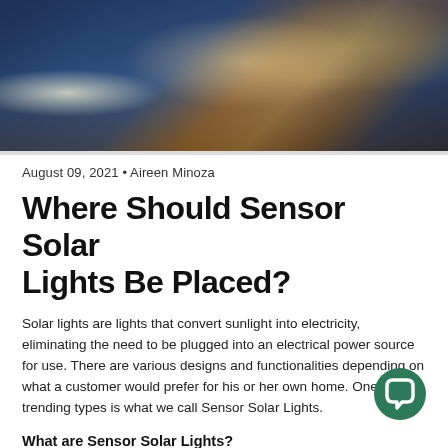[Figure (photo): Night photo of a modern house with wood cladding exterior, illuminated interior visible through large windows, outdoor solar/security light shining brightly on the left side, trees in background.]
August 09, 2021 • Aireen Minoza
Where Should Sensor Solar Lights Be Placed?
Solar lights are lights that convert sunlight into electricity, eliminating the need to be plugged into an electrical power source for use. There are various designs and functionalities depending on what a customer would prefer for his or her own home. One of the trending types is what we call Sensor Solar Lights.
What are Sensor Solar Lights?